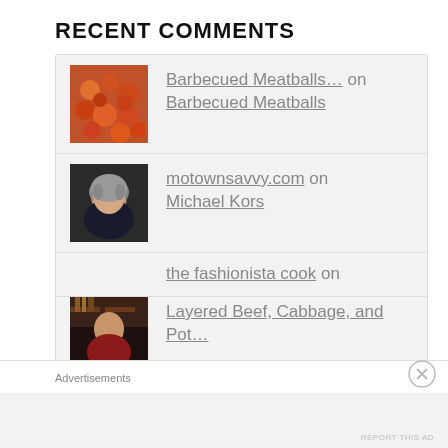RECENT COMMENTS
Barbecued Meatballs... on Barbecued Meatballs
motownsavvy.com on Michael Kors
the fashionista cook on Layered Beef, Cabbage, and Pot...
Sharon on Layered Beef, Cabbage, and Pot...
Advertisements